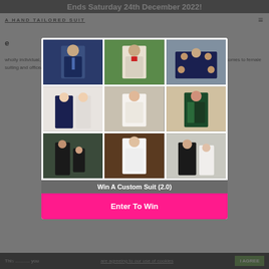Ends Saturday 24th December 2022!
[Figure (photo): 3x3 grid of wedding/formal suit photos showing men and women in tailored suits and formal wear]
Win A Custom Suit (2.0)
Enter To Win
wholly individual, we also know that people can share style eccentricities on a common ground. When it comes to female suiting and office/formal
This ... you are agreeing to our use of cookies   I AGREE